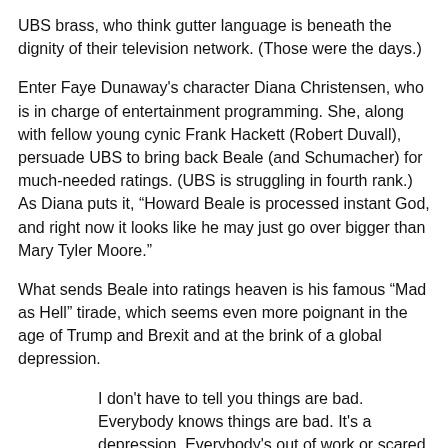UBS brass, who think gutter language is beneath the dignity of their television network. (Those were the days.)
Enter Faye Dunaway's character Diana Christensen, who is in charge of entertainment programming. She, along with fellow young cynic Frank Hackett (Robert Duvall), persuade UBS to bring back Beale (and Schumacher) for much-needed ratings. (UBS is struggling in fourth rank.) As Diana puts it, “Howard Beale is processed instant God, and right now it looks like he may just go over bigger than Mary Tyler Moore.”
What sends Beale into ratings heaven is his famous “Mad as Hell” tirade, which seems even more poignant in the age of Trump and Brexit and at the brink of a global depression.
I don't have to tell you things are bad. Everybody knows things are bad. It's a depression. Everybody's out of work or scared of losing their job, the dollar buys a nickel's worth, banks are going bust, shopkeepers keep a gun under the counter, punks are running wild in the streets, and there's nobody anywhere